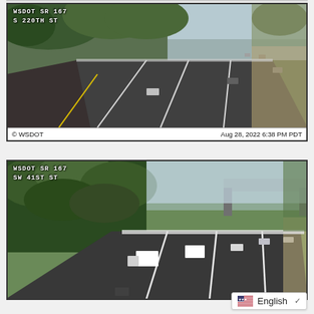[Figure (screenshot): WSDOT traffic camera screenshot showing SR 167 at S 220TH ST. Highway with multiple lanes, trees on left, vehicles visible. Timestamp: Aug 28, 2022 6:38 PM PDT. Copyright WSDOT.]
[Figure (screenshot): WSDOT traffic camera screenshot showing SR 167 at SW 41ST ST. Multi-lane highway with green trees/vegetation on left, bridge visible in background, trucks and cars on road.]